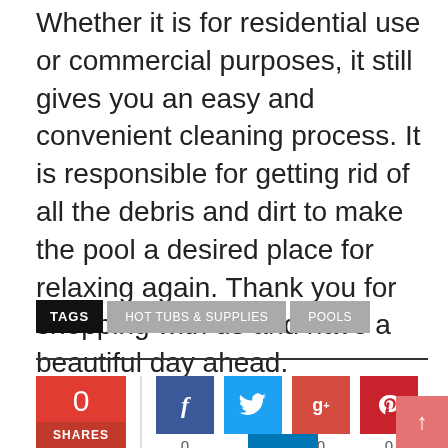Whether it is for residential use or commercial purposes, it still gives you an easy and convenient cleaning process. It is responsible for getting rid of all the debris and dirt to make the pool a desired place for relaxing again. Thank you for shopping with us and have a beautiful day ahead.
TAGS  HOT TUBS & SUPPLIES  POOLS
[Figure (infographic): Social sharing widget showing 0 shares with Facebook, Twitter, Google+, Pinterest, LinkedIn share buttons and counts of 0, +, 0, 0 respectively, plus a scroll-to-top arrow button]